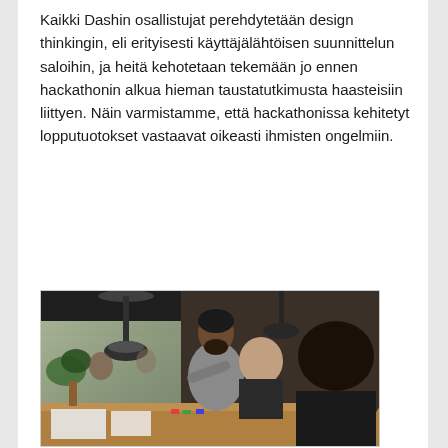Kaikki Dashin osallistujat perehdytetään design thinkingin, eli erityisesti käyttäjälähtöisen suunnittelun saloihin, ja heitä kehotetaan tekemään jo ennen hackathonin alkua hieman taustatutkimusta haasteisiin liittyen. Näin varmistamme, että hackathonissa kehitetyt lopputuotokset vastaavat oikeasti ihmisten ongelmiin.
[Figure (photo): People sitting around a table in a modern workspace or cafe setting. A man with a beard stands and gestures, appearing to explain or present something to others seated at the table. The space has pendant lamps, green plants, and large windows visible in the background.]